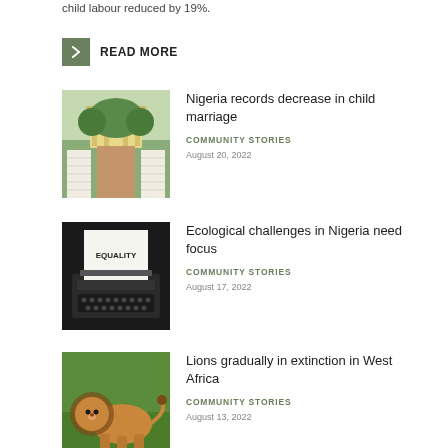child labour reduced by 19%.
READ MORE
[Figure (photo): Outdoor wedding venue with a decorative gazebo surrounded by greenery and rows of white chairs]
Nigeria records decrease in child marriage
COMMUNITY STORIES
August 20, 2022
[Figure (photo): Typewriter with a piece of paper that reads EQUALITY in a dark setting]
Ecological challenges in Nigeria need focus
COMMUNITY STORIES
August 17, 2022
[Figure (photo): A lion walking on grass in West Africa]
Lions gradually in extinction in West Africa
COMMUNITY STORIES
August 13, 2022